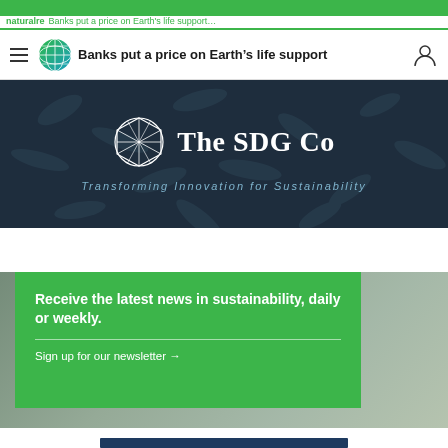naturalre... | Banks put a price on Earth’s life support
[Figure (logo): The SDG Co logo: a geometric globe/polyhedron icon in green and teal with white lines, and the text 'The SDG Co' in white bold serif font]
Transforming Innovation for Sustainability
Receive the latest news in sustainability, daily or weekly.
Sign up for our newsletter →